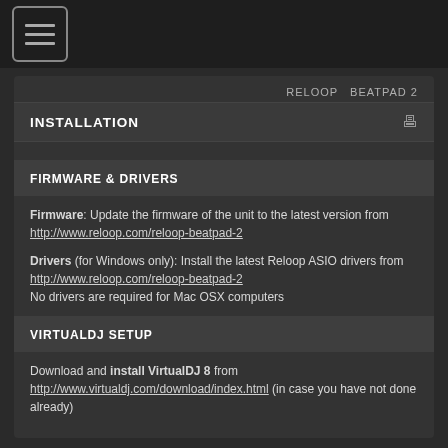[Figure (other): Hamburger menu button icon in top-left corner]
RELOOP  BEATPAD 2
INSTALLATION
FIRMWARE & DRIVERS
Firmware: Update the firmware of the unit to the latest version from http://www.reloop.com/reloop-beatpad-2
Drivers (for Windows only): Install the latest Reloop ASIO drivers from http://www.reloop.com/reloop-beatpad-2
No drivers are required for Mac OSX computers
VIRTUALDJ SETUP
Download and install VirtualDJ 8 from http://www.virtualdj.com/download/index.html (in case you have not done already)